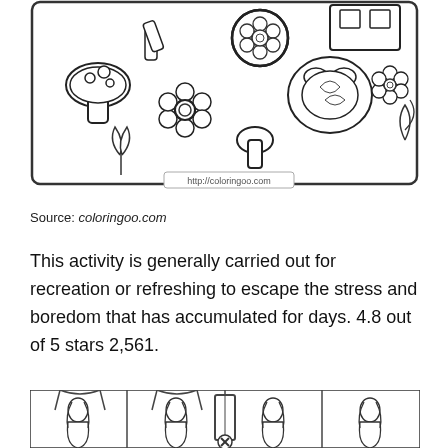[Figure (illustration): A coloring book page showing mushrooms, flowers, a fox, and a decorative background. URL watermark reads http://coloringoo.com]
Source: coloringoo.com
This activity is generally carried out for recreation or refreshing to escape the stress and boredom that has accumulated for days. 4.8 out of 5 stars 2,561.
[Figure (illustration): A coloring book page showing four princess/Barbie-like figures standing in a decorative setting with doors and curtains.]